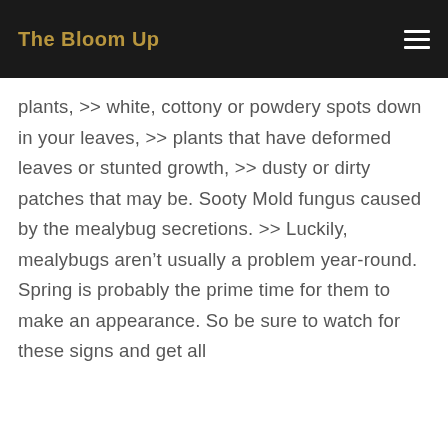The Bloom Up
plants, >> white, cottony or powdery spots down in your leaves, >> plants that have deformed leaves or stunted growth, >> dusty or dirty patches that may be. Sooty Mold fungus caused by the mealybug secretions. >> Luckily, mealybugs aren’t usually a problem year-round. Spring is probably the prime time for them to make an appearance. So be sure to watch for these signs and get all